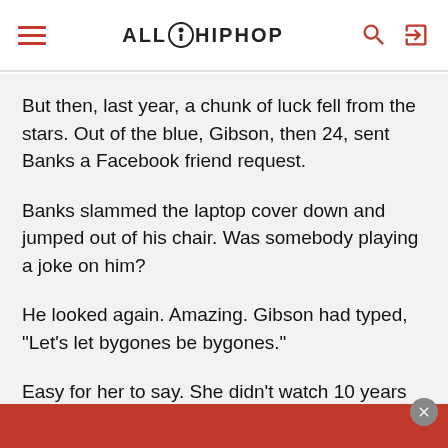ALL HIP HOP
But then, last year, a chunk of luck fell from the stars. Out of the blue, Gibson, then 24, sent Banks a Facebook friend request.
Banks slammed the laptop cover down and jumped out of his chair. Was somebody playing a joke on him?
He looked again. Amazing. Gibson had typed, "Let's let bygones be bygones."
Easy for her to say. She didn't watch 10 years of